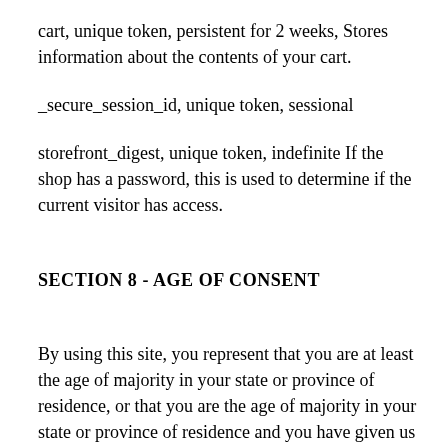cart, unique token, persistent for 2 weeks, Stores information about the contents of your cart.
_secure_session_id, unique token, sessional
storefront_digest, unique token, indefinite If the shop has a password, this is used to determine if the current visitor has access.
SECTION 8 - AGE OF CONSENT
By using this site, you represent that you are at least the age of majority in your state or province of residence, or that you are the age of majority in your state or province of residence and you have given us your consent to allow